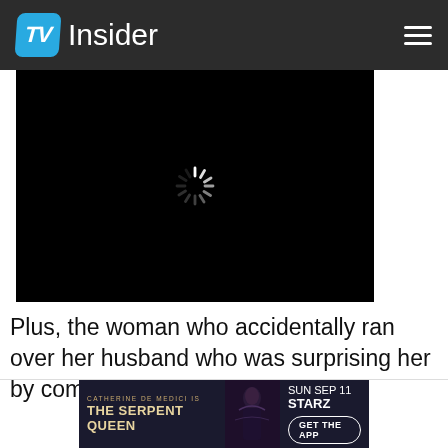TV Insider
[Figure (screenshot): Black video player area with loading spinner (spinning wheel icon) in the center, indicating a video is buffering/loading.]
Plus, the woman who accidentally ran over her husband who was surprising her by coming home early
[Figure (other): Advertisement banner for 'The Serpent Queen' on Starz. Text reads: CATHERINE DE MEDICI IS / THE SERPENT QUEEN / SUN SEP 11 STARZ / GET THE APP. Features a dark fantasy figure in ornate costume.]